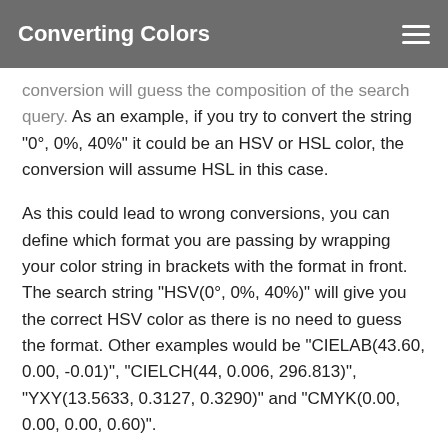Converting Colors
conversion will guess the composition of the search query. As an example, if you try to convert the string "0°, 0%, 40%" it could be an HSV or HSL color, the conversion will assume HSL in this case.
As this could lead to wrong conversions, you can define which format you are passing by wrapping your color string in brackets with the format in front. The search string "HSV(0°, 0%, 40%)" will give you the correct HSV color as there is no need to guess the format. Other examples would be "CIELAB(43.60, 0.00, -0.01)", "CIELCH(44, 0.006, 296.813)", "YXY(13.5633, 0.3127, 0.3290)" and "CMYK(0.00, 0.00, 0.00, 0.60)".
Details